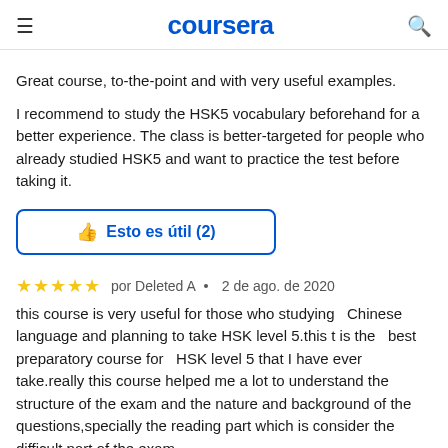coursera
Great course, to-the-point and with very useful examples.
I recommend to study the HSK5 vocabulary beforehand for a better experience. The class is better-targeted for people who already studied HSK5 and want to practice the test before taking it.
👍 Esto es útil (2)
⭐⭐⭐⭐⭐  por Deleted A  •  2 de ago. de 2020
this course is very useful for those who studying  Chinese language and planning to take HSK level 5.this t is the  best preparatory course for  HSK level 5 that I have ever take.really this course helped me a lot to understand the structure of the exam and the nature and background of the questions,specially the reading part which is consider the difficult part of the exam.